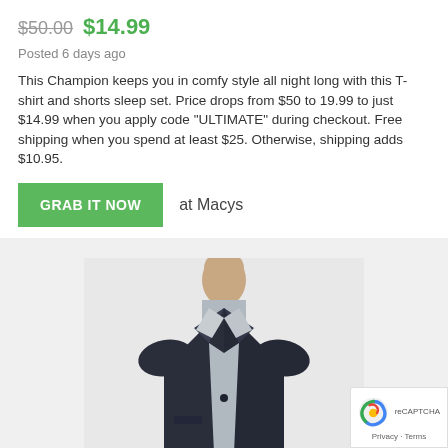$50.00 $14.99
Posted 6 days ago
This Champion keeps you in comfy style all night long with this T-shirt and shorts sleep set. Price drops from $50 to 19.99 to just $14.99 when you apply code "ULTIMATE" during checkout. Free shipping when you spend at least $25. Otherwise, shipping adds $10.95.
GRAB IT NOW  at Macys
[Figure (photo): Man wearing a dark navy blazer/sport coat over a light grey collared shirt, photographed from chest up against a neutral background.]